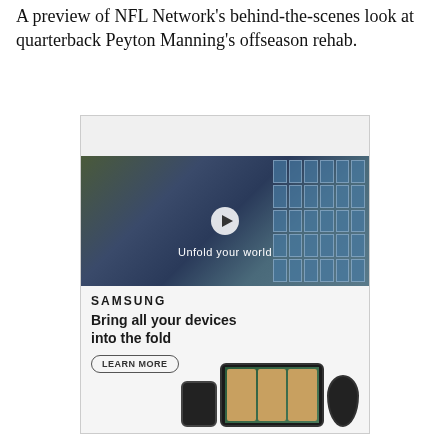A preview of NFL Network's behind-the-scenes look at quarterback Peyton Manning's offseason rehab.
[Figure (screenshot): Advertisement for Samsung featuring a video player with 'Unfold your world' text and a play button, plus Samsung branding with 'Bring all your devices into the fold' tagline, a LEARN MORE button, and device images.]